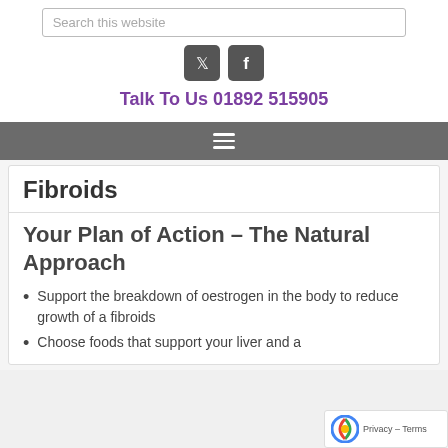Search this website
[Figure (logo): Twitter and Facebook social media icons]
Talk To Us 01892 515905
[Figure (other): Navigation hamburger menu icon on grey bar]
Fibroids
Your Plan of Action – The Natural Approach
Support the breakdown of oestrogen in the body to reduce growth of a fibroids
Choose foods that support your liver and a...